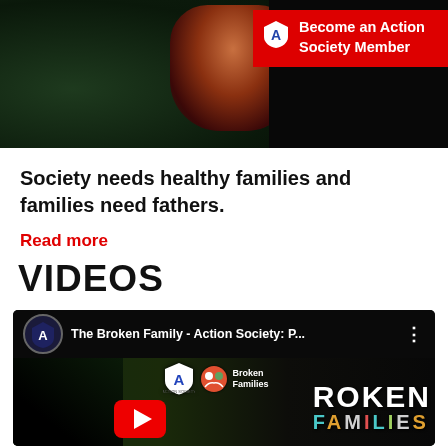[Figure (photo): Dark scene with silhouetted figure and glowing element, with red 'Become an Action Society Member' badge overlay in top right]
Society needs healthy families and families need fathers.
Read more
VIDEOS
[Figure (screenshot): YouTube video thumbnail for 'The Broken Family - Action Society: P...' showing silhouetted figures, Action Society and Broken Families logos, YouTube play button, and text 'BROKEN FAMILIES']